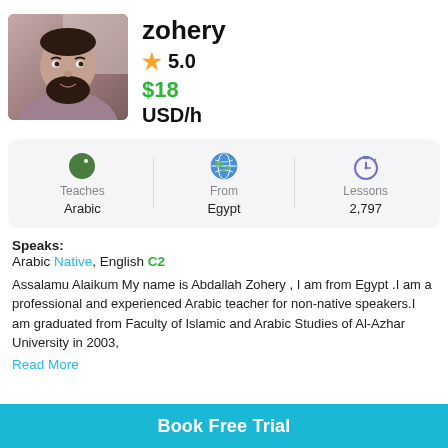[Figure (photo): Profile photo of tutor Zohery, a man with a beard wearing a grey/mauve robe, photographed indoors]
zohery
★ 5.0
$18 USD/h
| Teaches | From | Lessons |
| --- | --- | --- |
| Arabic | Egypt | 2,797 |
Speaks:
Arabic Native, English C2
Assalamu Alaikum My name is Abdallah Zohery , I am from Egypt .I am a professional and experienced Arabic teacher for non-native speakers.I am graduated from Faculty of Islamic and Arabic Studies of Al-Azhar University in 2003,
Read More
Book Free Trial